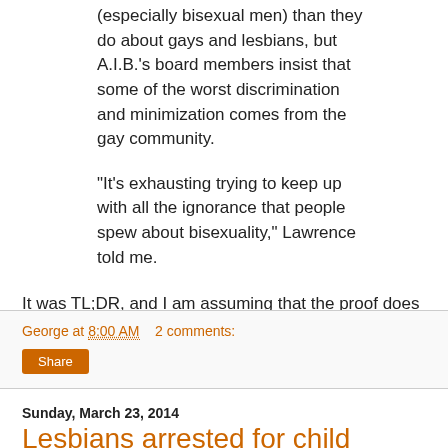(especially bisexual men) than they do about gays and lesbians, but A.I.B.'s board members insist that some of the worst discrimination and minimization comes from the gay community.
“It’s exhausting trying to keep up with all the ignorance that people spew about bisexuality,” Lawrence told me.
It was TL;DR, and I am assuming that the proof does not exist yet.
George at 8:00 AM    2 comments:
Share
Sunday, March 23, 2014
Lesbians arrested for child abuse
The worst parents are the psychotherapists, lesbians, and adoptive parents. This story has the combination, along with